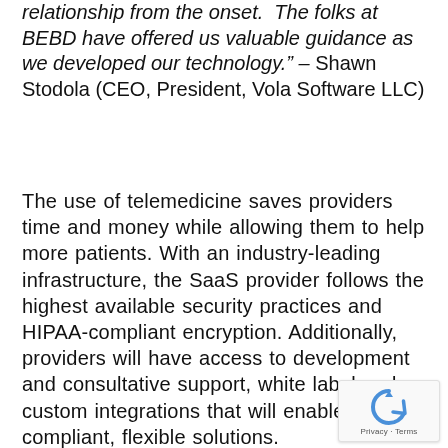relationship from the onset. The folks at BEBD have offered us valuable guidance as we developed our technology." – Shawn Stodola (CEO, President, Vola Software LLC)
The use of telemedicine saves providers time and money while allowing them to help more patients. With an industry-leading infrastructure, the SaaS provider follows the highest available security practices and HIPAA-compliant encryption. Additionally, providers will have access to development and consultative support, white label and custom integrations that will enable compliant, flexible solutions.
[Figure (logo): reCAPTCHA badge with circular arrow icon and Privacy - Terms text]